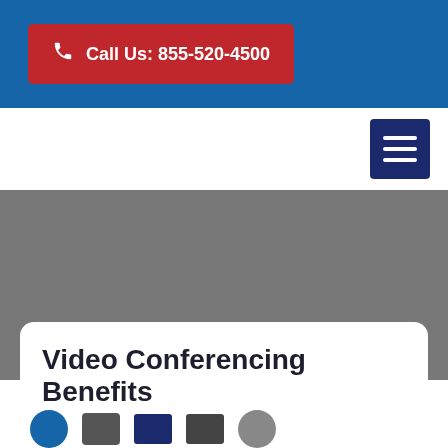Call Us: 855-520-4500
[Figure (other): Hamburger menu button (three horizontal lines) on a dark navy background, positioned in the top-right of the navigation bar]
[Figure (photo): Gray background hero section]
Video Conferencing Benefits